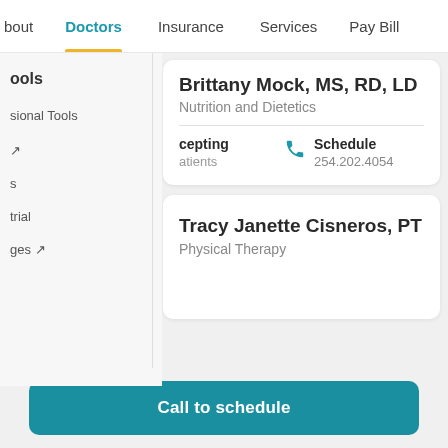bout  Doctors  Insurance  Services  Pay Bill
ools
sional Tools
↗
s
trial
ges ↗
Brittany Mock, MS, RD, LD
Nutrition and Dietetics
cepting
atients
Schedule
254.202.4054
Tracy Janette Cisneros, PT
Physical Therapy
Call to schedule